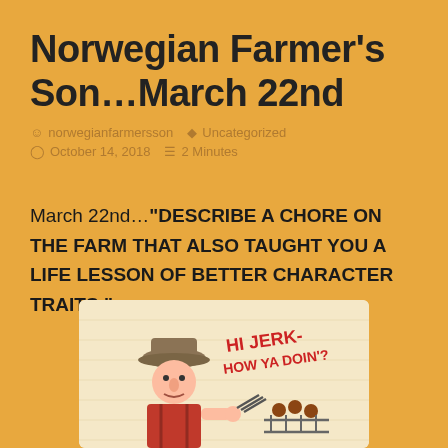Norwegian Farmer's Son…March 22nd
norwegianfarmersson   Uncategorized   October 14, 2018   2 Minutes
March 22nd…"DESCRIBE A CHORE ON THE FARM THAT ALSO TAUGHT YOU A LIFE LESSON OF BETTER CHARACTER TRAITS."
[Figure (illustration): Comic illustration of a farmer character with a hat, with text 'HI JERK- HOW YA DOIN'?' written in red, and some items depicted near a fence or grill.]